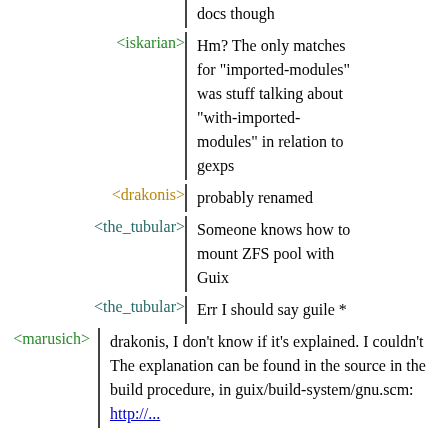docs though
<iskarian> Hm? The only matches for "imported-modules" was stuff talking about "with-imported-modules" in relation to gexps
<drakonis> probably renamed
<the_tubular> Someone knows how to mount ZFS pool with Guix
<the_tubular> Err I should say guile *
<marusich> drakonis, I don't know if it's explained. I couldn't The explanation can be found in the source in the build procedure, in guix/build-system/gnu.scm:
http://...